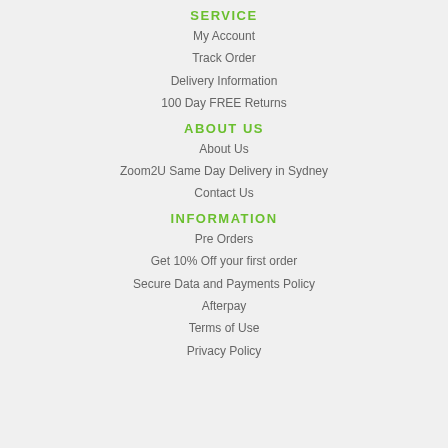SERVICE
My Account
Track Order
Delivery Information
100 Day FREE Returns
ABOUT US
About Us
Zoom2U Same Day Delivery in Sydney
Contact Us
INFORMATION
Pre Orders
Get 10% Off your first order
Secure Data and Payments Policy
Afterpay
Terms of Use
Privacy Policy